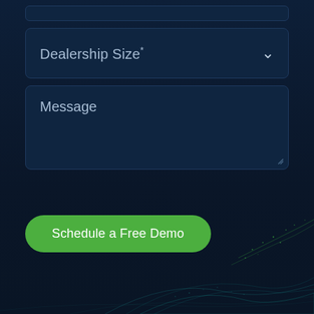[Figure (screenshot): Dark navy background with decorative green and teal wave/particle pattern at the bottom]
Dealership Size *
Message
Schedule a Free Demo